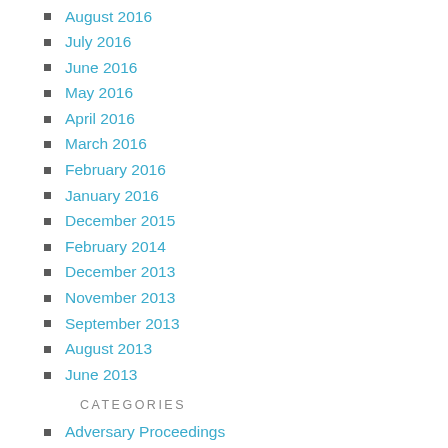August 2016
July 2016
June 2016
May 2016
April 2016
March 2016
February 2016
January 2016
December 2015
February 2014
December 2013
November 2013
September 2013
August 2013
June 2013
CATEGORIES
Adversary Proceedings
Bankruptcy
Debt Collection